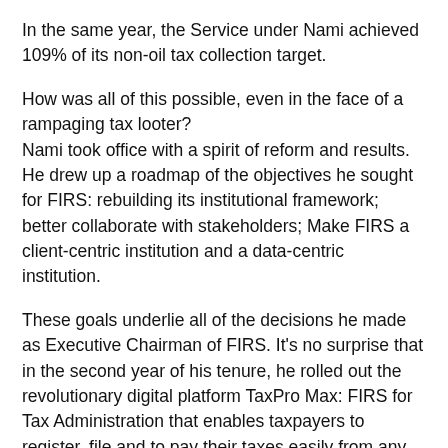In the same year, the Service under Nami achieved 109% of its non-oil tax collection target.
How was all of this possible, even in the face of a rampaging tax looter?
Nami took office with a spirit of reform and results. He drew up a roadmap of the objectives he sought for FIRS: rebuilding its institutional framework; better collaborate with stakeholders; Make FIRS a client-centric institution and a data-centric institution.
These goals underlie all of the decisions he made as Executive Chairman of FIRS. It’s no surprise that in the second year of his tenure, he rolled out the revolutionary digital platform TaxPro Max: FIRS for Tax Administration that enables taxpayers to register, file and to pay their taxes easily from any location other than their respective tax offices.
Then he set up the Directorate of Tax Incentives Management to monitor and take charge of the taxation of companies benefiting from